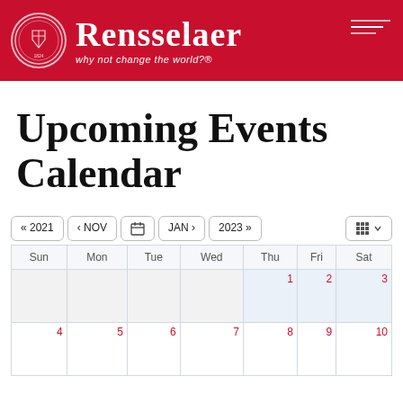[Figure (logo): Rensselaer Polytechnic Institute header with red background, circular seal/logo, 'Rensselaer' in white serif font, tagline 'why not change the world?®']
Upcoming Events Calendar
| Sun | Mon | Tue | Wed | Thu | Fri | Sat |
| --- | --- | --- | --- | --- | --- | --- |
|  |  |  |  | 1 | 2 | 3 |
| 4 | 5 | 6 | 7 | 8 | 9 | 10 |